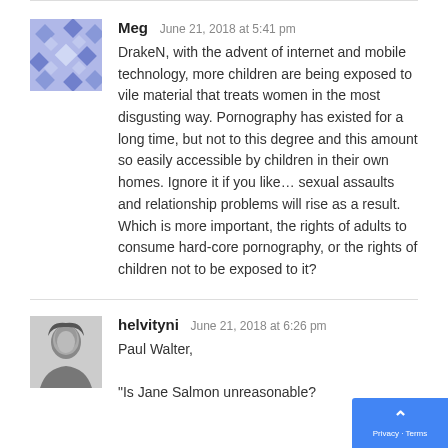Meg  June 21, 2018 at 5:41 pm
DrakeN, with the advent of internet and mobile technology, more children are being exposed to vile material that treats women in the most disgusting way. Pornography has existed for a long time, but not to this degree and this amount so easily accessible by children in their own homes. Ignore it if you like… sexual assaults and relationship problems will rise as a result. Which is more important, the rights of adults to consume hard-core pornography, or the rights of children not to be exposed to it?
helvityni  June 21, 2018 at 6:26 pm
Paul Walter,

"Is Jane Salmon unreasonable?